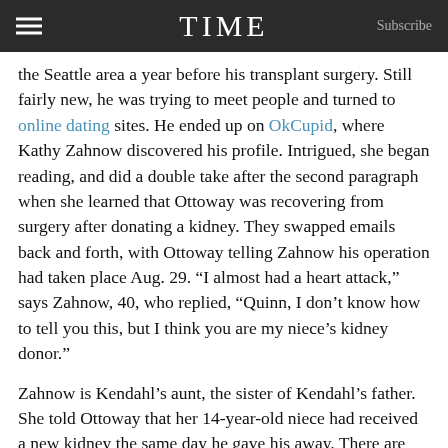TIME  Subscribe
the Seattle area a year before his transplant surgery. Still fairly new, he was trying to meet people and turned to online dating sites. He ended up on OkCupid, where Kathy Zahnow discovered his profile. Intrigued, she began reading, and did a double take after the second paragraph when she learned that Ottoway was recovering from surgery after donating a kidney. They swapped emails back and forth, with Ottoway telling Zahnow his operation had taken place Aug. 29. “I almost had a heart attack,” says Zahnow, 40, who replied, “Quinn, I don’t know how to tell you this, but I think you are my niece’s kidney donor.”
Zahnow is Kendahl’s aunt, the sister of Kendahl’s father. She told Ottoway that her 14-year-old niece had received a new kidney the same day he gave his away. There are about 17,000 pediatric kidney transplants in the U.S. each year. What were the chances?
The next day, Ottoway showed up for a scheduled appointment